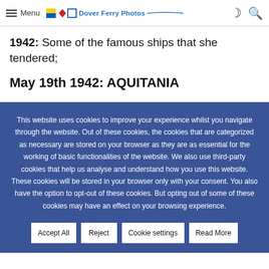Menu | Dover Ferry Photos
1942: Some of the famous ships that she tendered;
May 19th 1942: AQUITANIA
This website uses cookies to improve your experience whilst you navigate through the website. Out of these cookies, the cookies that are categorized as necessary are stored on your browser as they are as essential for the working of basic functionalities of the website. We also use third-party cookies that help us analyse and understand how you use this website. These cookies will be stored in your browser only with your consent. You also have the option to opt-out of these cookies. But opting out of some of these cookies may have an effect on your browsing experience.
Accept All | Reject | Cookie settings | Read More